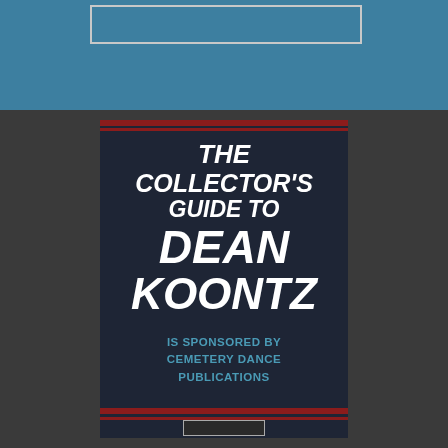[Figure (illustration): Book cover or promotional banner for 'The Collector's Guide to Dean Koontz', sponsored by Cemetery Dance Publications. Blue top band with a white outlined box, dark navy central card with red horizontal bars, white bold italic title text, and teal sponsorship text.]